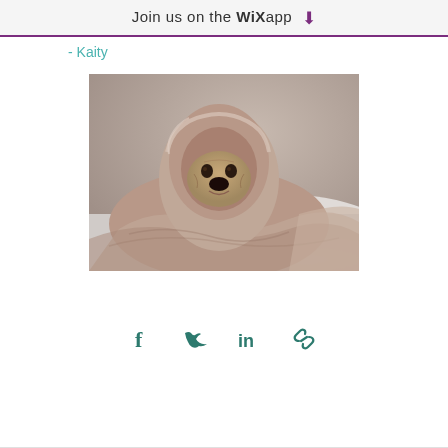Join us on the WiX app ⬇
- Kaity
[Figure (photo): A pug dog wrapped in a soft pink/beige blanket or sweater draped over its head like a hood, sitting on a white bed, looking downward with a sad expression. The background is blurred and grayish-beige.]
[Figure (infographic): Social sharing icons row: Facebook (f), Twitter (bird), LinkedIn (in), and a link/chain icon, all in dark teal/green color.]